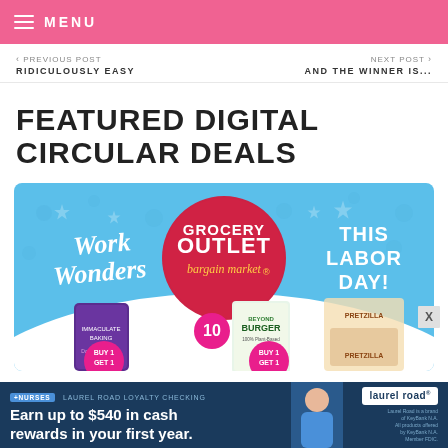MENU
< PREVIOUS POST
RIDICULOUSLY EASY
NEXT POST >
AND THE WINNER IS...
FEATURED DIGITAL CIRCULAR DEALS
[Figure (photo): Grocery Outlet Bargain Market Labor Day promotional banner showing 'Work Wonders' text, Grocery Outlet logo circle, 'THIS LABOR DAY!' text, and product images including Beyond Burger and Pretzilla with BUY 1 GET 1 deals]
[Figure (photo): Advertisement banner for Laurel Road Loyalty Checking: '+NURSES LAUREL ROAD LOYALTY CHECKING - Earn up to $540 in cash rewards in your first year.' with image of person and Laurel Road branding]